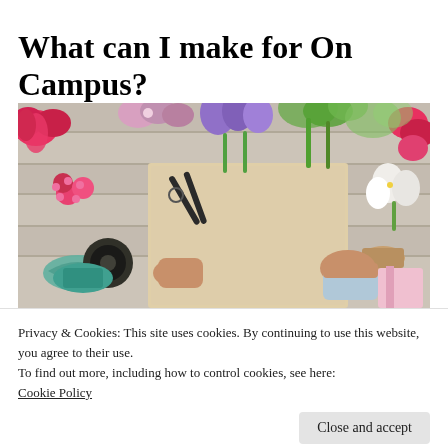What can I make for On Campus?
[Figure (photo): Overhead view of a floral arrangement workspace with colorful tulips and flowers surrounding a blank kraft paper sheet, scissors, ribbon, and two people's hands working on the arrangement.]
Privacy & Cookies: This site uses cookies. By continuing to use this website, you agree to their use.
To find out more, including how to control cookies, see here:
Cookie Policy
Close and accept
and other digital content as you like for our